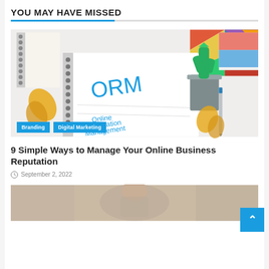YOU MAY HAVE MISSED
[Figure (photo): Notebook with ORM (Online Reputation Management) written in blue marker, surrounded by a cactus plant in a pot, a pen, a spiral notebook, decorative gift boxes with colorful triangle patterns, and dried ginkgo leaves on a white desk surface.]
9 Simple Ways to Manage Your Online Business Reputation
September 2, 2022
[Figure (photo): Partial view of a person from behind, appears to be in an office or home environment, blurred background.]